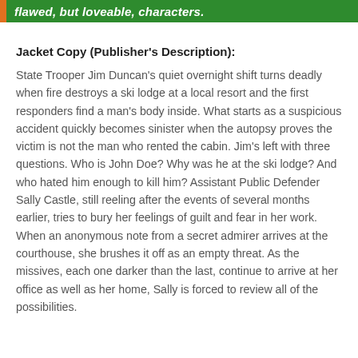flawed, but loveable, characters.
Jacket Copy (Publisher's Description):
State Trooper Jim Duncan's quiet overnight shift turns deadly when fire destroys a ski lodge at a local resort and the first responders find a man's body inside. What starts as a suspicious accident quickly becomes sinister when the autopsy proves the victim is not the man who rented the cabin. Jim's left with three questions. Who is John Doe? Why was he at the ski lodge? And who hated him enough to kill him? Assistant Public Defender Sally Castle, still reeling after the events of several months earlier, tries to bury her feelings of guilt and fear in her work. When an anonymous note from a secret admirer arrives at the courthouse, she brushes it off as an empty threat. As the missives, each one darker than the last, continue to arrive at her office as well as her home, Sally is forced to review all of the possibilities. Is the letter writer someone from her close-knit? Or is